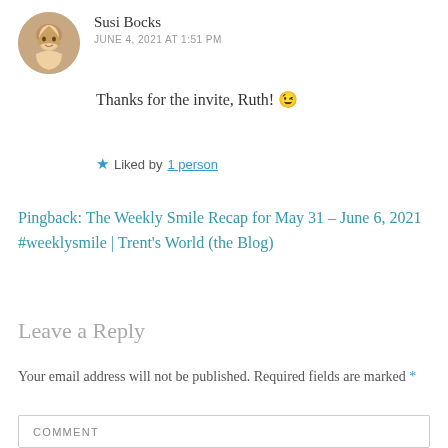[Figure (photo): Circular avatar photo of a woman with blonde hair, smiling]
Susi Bocks
JUNE 4, 2021 AT 1:51 PM
Thanks for the invite, Ruth! 😉
★ Liked by 1 person
Pingback: The Weekly Smile Recap for May 31 – June 6, 2021 #weeklysmile | Trent's World (the Blog)
Leave a Reply
Your email address will not be published. Required fields are marked *
COMMENT